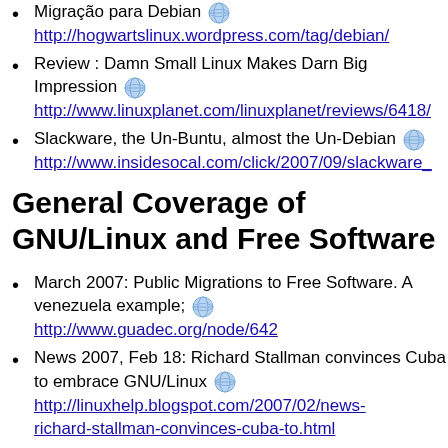Migração para Debian http://hogwartslinux.wordpress.com/tag/debian/
Review : Damn Small Linux Makes Darn Big Impression http://www.linuxplanet.com/linuxplanet/reviews/6418/
Slackware, the Un-Buntu, almost the Un-Debian http://www.insidesocal.com/click/2007/09/slackware_
General Coverage of GNU/Linux and Free Software
March 2007: Public Migrations to Free Software. A venezuela example; http://www.guadec.org/node/642
News 2007, Feb 18: Richard Stallman convinces Cuba to embrace GNU/Linux http://linuxhelp.blogspot.com/2007/02/news-richard-stallman-convinces-cuba-to.html